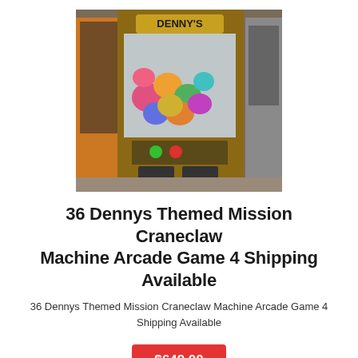[Figure (photo): Denny's branded claw machine arcade game filled with stuffed animals/plush toys, surrounded by other arcade machines]
36 Dennys Themed Mission Craneclaw Machine Arcade Game 4 Shipping Available
36 Dennys Themed Mission Craneclaw Machine Arcade Game 4 Shipping Available
$649.00